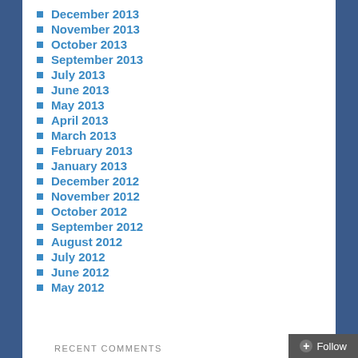December 2013
November 2013
October 2013
September 2013
July 2013
June 2013
May 2013
April 2013
March 2013
February 2013
January 2013
December 2012
November 2012
October 2012
September 2012
August 2012
July 2012
June 2012
May 2012
RECENT COMMENTS